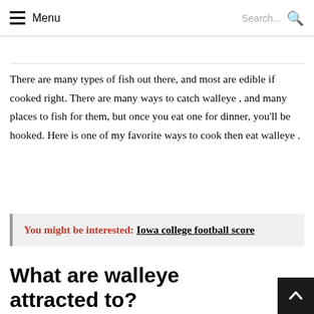Menu  Search...
(partial page title — cropped)
There are many types of fish out there, and most are edible if cooked right. There are many ways to catch walleye , and many places to fish for them, but once you eat one for dinner, you'll be hooked. Here is one of my favorite ways to cook then eat walleye .
You might be interested:  Iowa college football score
What are walleye attracted to?